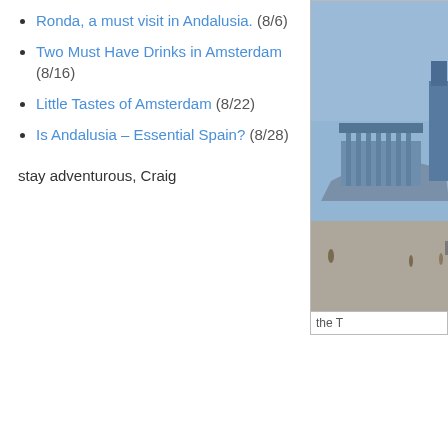Ronda, a must visit in Andalusia. (8/6)
Two Must Have Drinks in Amsterdam (8/16)
Little Tastes of Amsterdam (8/22)
Is Andalusia – Essential Spain? (8/28)
stay adventurous, Craig
[Figure (photo): Photograph of a historic hilltop structure or acropolis, blue-tinted, with columns and ruins visible, with people and open ground in the foreground.]
the T